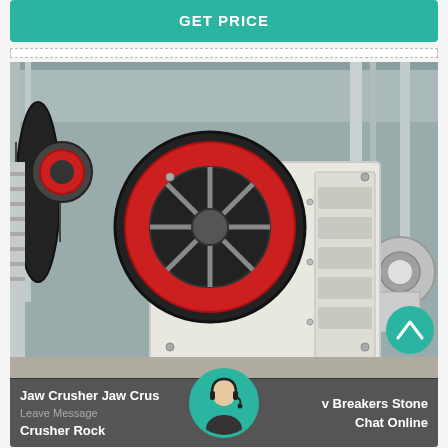GET PRICE
[Figure (photo): Industrial jaw crusher machine in a factory warehouse. Large white heavy machine with red and black flywheel on the left side, ribbed structure on the right. Multiple similar machines visible in background.]
Jaw Crusher Jaw Crusher Breakers Stone Crusher Rock
Leave Message
Chat Online